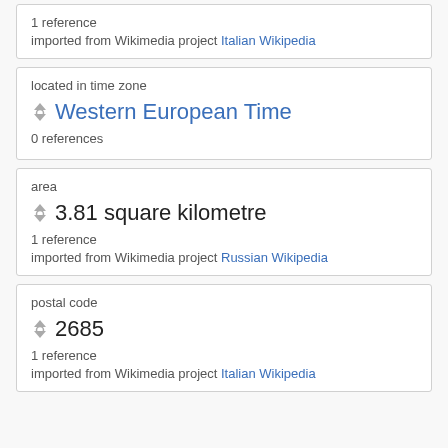1 reference
imported from Wikimedia project Italian Wikipedia
located in time zone
Western European Time
0 references
area
3.81 square kilometre
1 reference
imported from Wikimedia project Russian Wikipedia
postal code
2685
1 reference
imported from Wikimedia project Italian Wikipedia